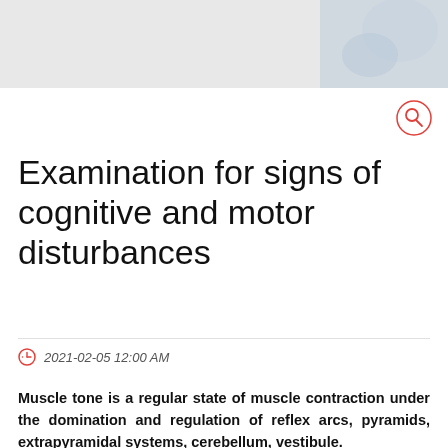[Figure (photo): Partial header image showing a medical or clinical scene, partially visible at the top of the page]
[Figure (other): Search icon button (magnifying glass in red circle outline) in the top right area]
Examination for signs of cognitive and motor disturbances
2021-02-05 12:00 AM
Muscle tone is a regular state of muscle contraction under the domination and regulation of reflex arcs, pyramids, extrapyramidal systems, cerebellum, vestibule.